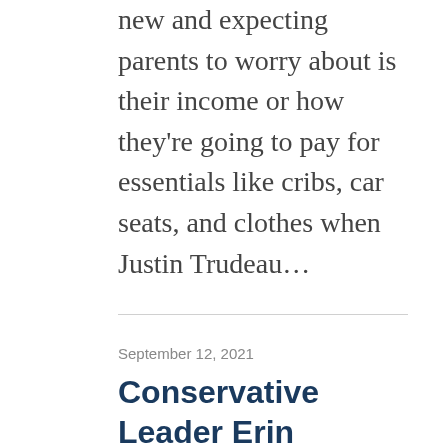new and expecting parents to worry about is their income or how they're going to pay for essentials like cribs, car seats, and clothes when Justin Trudeau...
September 12, 2021
Conservative Leader Erin O'Toole announces plan to support grieving parents
Vancouver, BC – Today, the Hon. Erin